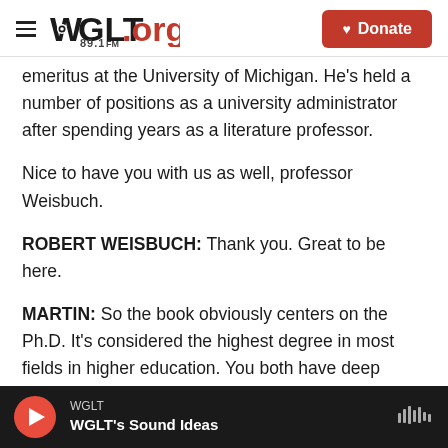WGLT.org 89.1FM | Donate
emeritus at the University of Michigan. He's held a number of positions as a university administrator after spending years as a literature professor.
Nice to have you with us as well, professor Weisbuch.
ROBERT WEISBUCH: Thank you. Great to be here.
MARTIN: So the book obviously centers on the Ph.D. It's considered the highest degree in most fields in higher education. You both have deep knowledge about this. You've lived it. But for people
WGLT — WGLT's Sound Ideas